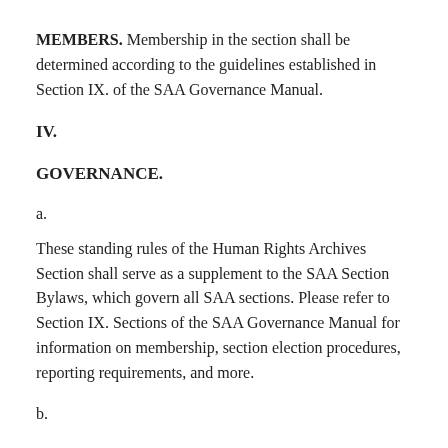MEMBERS. Membership in the section shall be determined according to the guidelines established in Section IX. of the SAA Governance Manual.
IV.
GOVERNANCE.
a.
These standing rules of the Human Rights Archives Section shall serve as a supplement to the SAA Section Bylaws, which govern all SAA sections. Please refer to Section IX. Sections of the SAA Governance Manual for information on membership, section election procedures, reporting requirements, and more.
b.